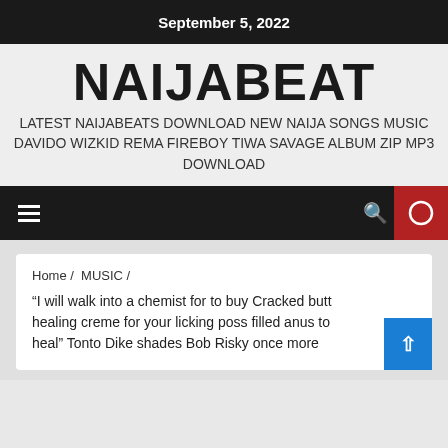September 5, 2022
NAIJABEAT
LATEST NAIJABEATS DOWNLOAD NEW NAIJA SONGS MUSIC DAVIDO WIZKID REMA FIREBOY TIWA SAVAGE ALBUM ZIP MP3 DOWNLOAD
Home / MUSIC / "I will walk into a chemist for to buy Cracked butt healing creme for your licking poss filled anus to heal" Tonto Dike shades Bob Risky once more